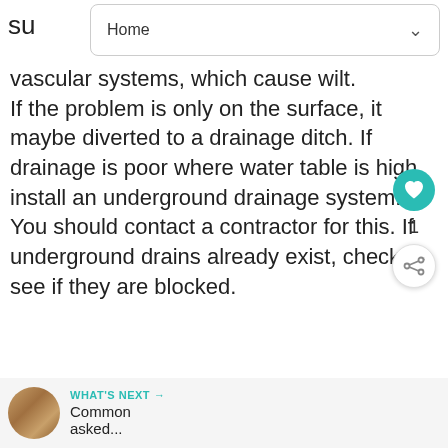Home
vascular systems, which cause wilt. If the problem is only on the surface, it maybe diverted to a drainage ditch. If drainage is poor where water table is high, install an underground drainage system. You should contact a contractor for this. If underground drains already exist, check to see if they are blocked.
[Figure (other): Floating action button with heart/like icon in teal color, count of 1, and share button below]
[Figure (other): What's Next section with thumbnail image and text 'Common asked...']